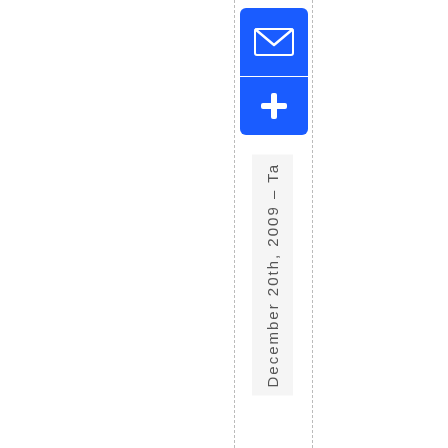[Figure (infographic): Two blue square icons stacked vertically: top icon shows an envelope (mail) symbol, bottom icon shows a plus (+) symbol, both on a blue rounded-rectangle background.]
December 20th, 2009 – Ta